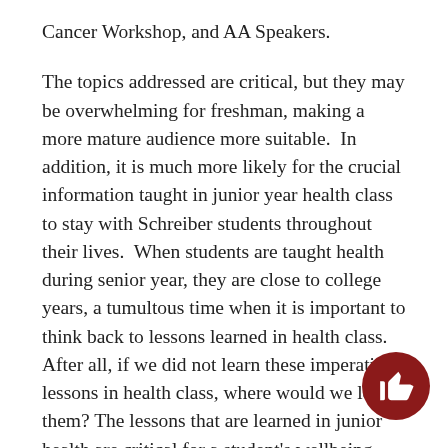Cancer Workshop, and AA Speakers.
The topics addressed are critical, but they may be overwhelming for freshman, making a more mature audience more suitable.  In addition, it is much more likely for the crucial information taught in junior year health class to stay with Schreiber students throughout their lives.  When students are taught health during senior year, they are close to college years, a tumultous time when it is important to think back to lessons learned in health class.  After all, if we did not learn these imperative lessons in health class, where would we learn them? The lessons that are learned in junior health are critical for a student's wellbeing.
Whether we recognize it or not, health class is an extremely worthwhile class that is applicable to life situations.  It does not matter if students go on